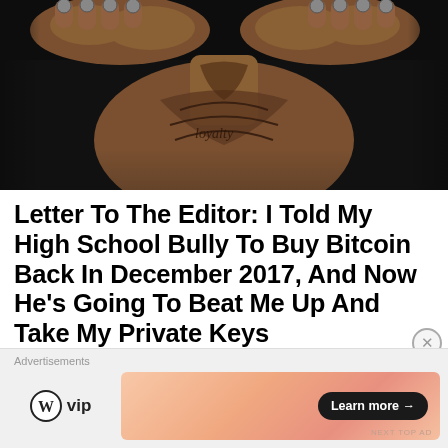[Figure (photo): A heavily tattooed person holding up both fists toward the camera, showing skull ring tattoos on fingers, tattoos covering the neck, chest and arms, against a dark background.]
Letter To The Editor: I Told My High School Bully To Buy Bitcoin Back In December 2017, And Now He’s Going To Beat Me Up And Take My Private Keys
( LEAVE A COMMENT )
Advertisements
[Figure (logo): WordPress VIP logo with W icon and 'vip' text, alongside an advertisement banner with peach/orange gradient and a 'Learn more' button]